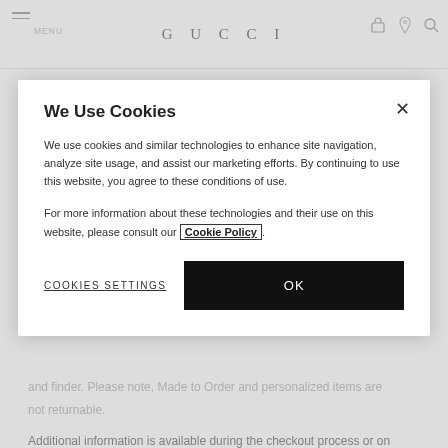this Item" from your MY GUCCI account under order details, through your delivery confirmation email or by contacting a Client Advisor
We Use Cookies
We use cookies and similar technologies to enhance site navigation, analyze site usage, and assist our marketing efforts. By continuing to use this website, you agree to these conditions of use.
For more information about these technologies and their use on this website, please consult our Cookie Policy.
COOKIES SETTINGS
OK
and finder. Please note, Made to Order and personalized items are not returnable.
Additional information is available during the checkout process or on the FAQs Section.